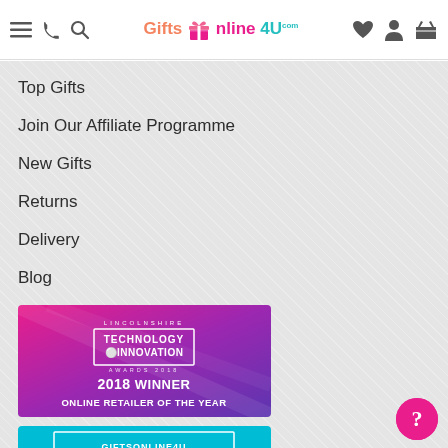GiftsOnline4U navigation header with menu, phone, search, wishlist, account, and basket icons
Top Gifts
Join Our Affiliate Programme
New Gifts
Returns
Delivery
Blog
[Figure (illustration): Lincolnshire Technology & Innovation Awards 2018 - Winner Online Retailer of the Year banner with pink to purple gradient background]
[Figure (illustration): GiftsOnline4U - Purchase of a UV Digital Printer banner with cyan/teal background]